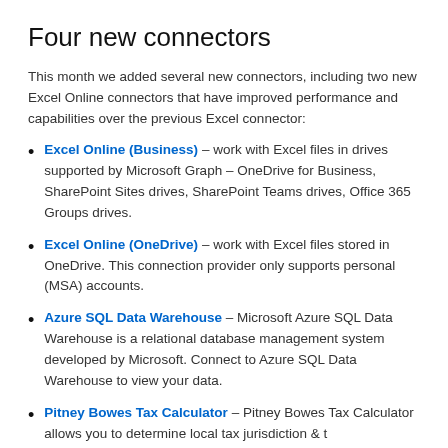Four new connectors
This month we added several new connectors, including two new Excel Online connectors that have improved performance and capabilities over the previous Excel connector:
Excel Online (Business) – work with Excel files in drives supported by Microsoft Graph – OneDrive for Business, SharePoint Sites drives, SharePoint Teams drives, Office 365 Groups drives.
Excel Online (OneDrive) – work with Excel files stored in OneDrive. This connection provider only supports personal (MSA) accounts.
Azure SQL Data Warehouse – Microsoft Azure SQL Data Warehouse is a relational database management system developed by Microsoft. Connect to Azure SQL Data Warehouse to view your data.
Pitney Bowes Tax Calculator – Pitney Bowes Tax Calculator allows you to determine local tax jurisdiction & t...